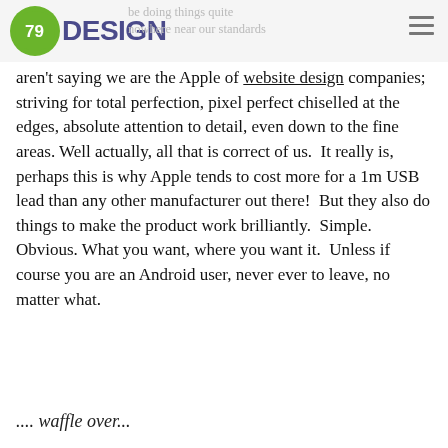79DESIGN — be doing things quite, at least, nowhere near our standards
[Figure (logo): 79DESIGN logo: green circle with 79 inside, followed by DESIGN text in dark blue/purple]
aren't saying we are the Apple of website design companies; striving for total perfection, pixel perfect chiselled at the edges, absolute attention to detail, even down to the fine areas. Well actually, all that is correct of us. It really is, perhaps this is why Apple tends to cost more for a 1m USB lead than any other manufacturer out there! But they also do things to make the product work brilliantly. Simple. Obvious. What you want, where you want it. Unless if course you are an Android user, never ever to leave, no matter what.
.... waffle over...